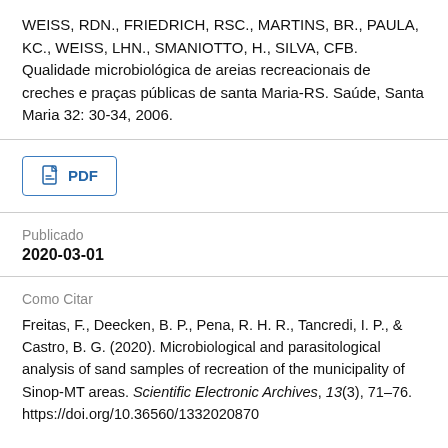WEISS, RDN., FRIEDRICH, RSC., MARTINS, BR., PAULA, KC., WEISS, LHN., SMANIOTTO, H., SILVA, CFB. Qualidade microbiológica de areias recreacionais de creches e praças públicas de santa Maria-RS. Saúde, Santa Maria 32: 30-34, 2006.
[Figure (other): PDF download button with document icon and PDF label]
Publicado
2020-03-01
Como Citar
Freitas, F., Deecken, B. P., Pena, R. H. R., Tancredi, I. P., & Castro, B. G. (2020). Microbiological and parasitological analysis of sand samples of recreation of the municipality of Sinop-MT areas. Scientific Electronic Archives, 13(3), 71–76. https://doi.org/10.36560/1332020870